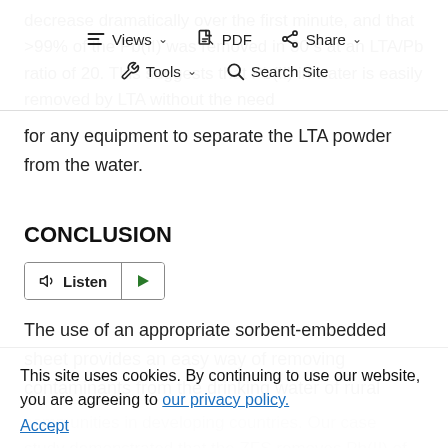decrease dramatically over the first minute, and that >99% of the Pb(II) was removed in 30 s at an LTA/Pb ratio of 20. This suggests that Pb(II) in water is easily removed by LTA without the need for any equipment to separate the LTA powder from the water.
CONCLUSION
The use of an appropriate sorbent-embedded sheet provides an easy way of removing contaminants from the drinking water of rural communities in developing countries. Our case study demonstrated that the ZFS removes Pb(II) of Pb(II)-polluted drinking water without the need for centrifugation and other separation
This site uses cookies. By continuing to use our website, you are agreeing to our privacy policy. Accept